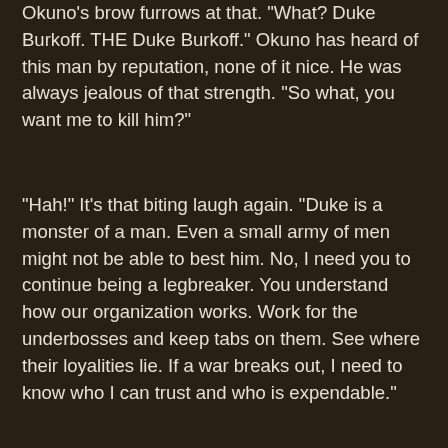Okuno's brow furrows at that. "What? Duke Burkoff. THE Duke Burkoff." Okuno has heard of this man by reputation, none of it nice. He was always jealous of that strength. "So what, you want me to kill him?"
"Hah!" It's that biting laugh again. "Duke is a monster of a man. Even a small army of men might not be able to best him. No, I need you to continue being a legbreaker. You understand how our organization works. Work for the underbosses and keep tabs on them. See where their loyalities lie. If a war breaks out, I need to know who I can trust and who is expendable."
Geese continues to pace. "But this is also a time where we can't show weakness. The Scarlet Dahlia is not done, and her 'Akatsuki' will make its move if they perceive weakness. We cannot flinch."
Okuno grunts, but the terms seem fair to him. "Keep my eyes